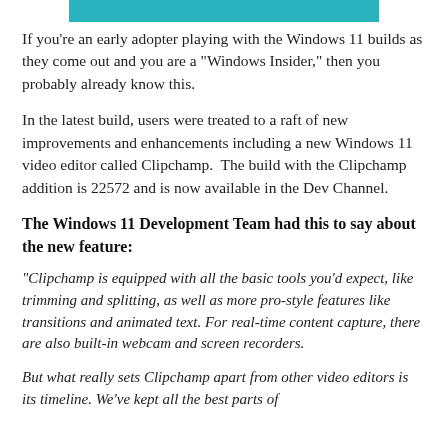[Figure (other): Teal/cyan horizontal bar decorative element at top center of page]
If you're an early adopter playing with the Windows 11 builds as they come out and you are a "Windows Insider," then you probably already know this.
In the latest build, users were treated to a raft of new improvements and enhancements including a new Windows 11 video editor called Clipchamp.  The build with the Clipchamp addition is 22572 and is now available in the Dev Channel.
The Windows 11 Development Team had this to say about the new feature:
"Clipchamp is equipped with all the basic tools you'd expect, like trimming and splitting, as well as more pro-style features like transitions and animated text. For real-time content capture, there are also built-in webcam and screen recorders.
But what really sets Clipchamp apart from other video editors is its timeline. We've kept all the best parts of